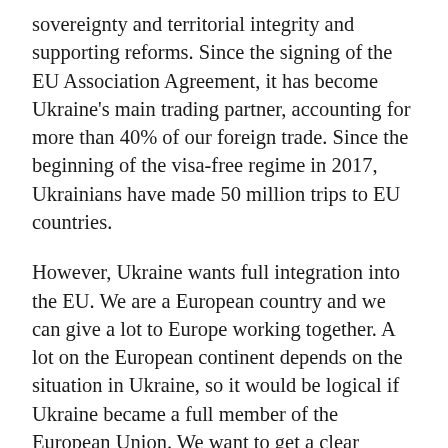sovereignty and territorial integrity and supporting reforms. Since the signing of the EU Association Agreement, it has become Ukraine's main trading partner, accounting for more than 40% of our foreign trade. Since the beginning of the visa-free regime in 2017, Ukrainians have made 50 million trips to EU countries.
However, Ukraine wants full integration into the EU. We are a European country and we can give a lot to Europe working together. A lot on the European continent depends on the situation in Ukraine, so it would be logical if Ukraine became a full member of the European Union. We want to get a clear membership perspective for Ukraine from the EU. It is important for Ukrainians that the European Union recognizes and supports our aspirations.
We are currently working to make the most of the potential of the Association Agreement to further deepen